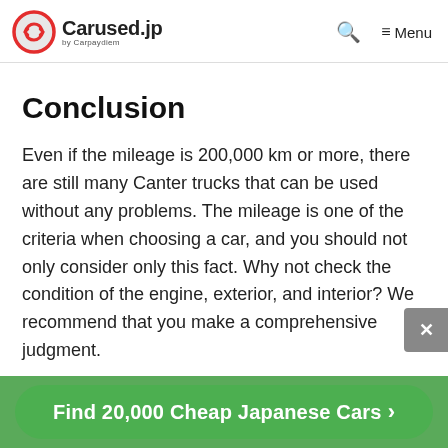Carused.jp by Carpaydiem — Search — Menu
Conclusion
Even if the mileage is 200,000 km or more, there are still many Canter trucks that can be used without any problems. The mileage is one of the criteria when choosing a car, and you should not only consider only this fact. Why not check the condition of the engine, exterior, and interior? We recommend that you make a comprehensive judgment.
Find 20,000 Cheap Japanese Cars